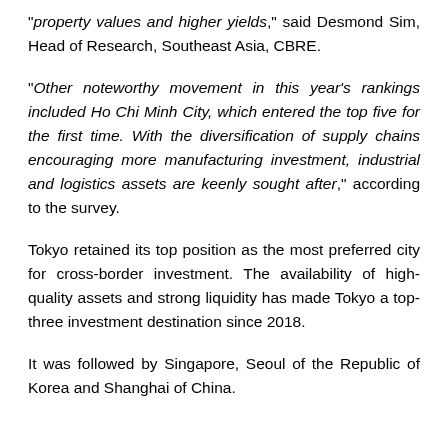“property values and higher yields,” said Desmond Sim, Head of Research, Southeast Asia, CBRE.
“Other noteworthy movement in this year’s rankings included Ho Chi Minh City, which entered the top five for the first time. With the diversification of supply chains encouraging more manufacturing investment, industrial and logistics assets are keenly sought after,” according to the survey.
Tokyo retained its top position as the most preferred city for cross-border investment. The availability of high-quality assets and strong liquidity has made Tokyo a top-three investment destination since 2018.
It was followed by Singapore, Seoul of the Republic of Korea and Shanghai of China.